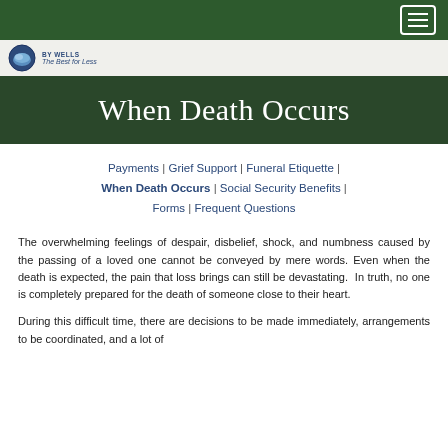GFW — The Best for Less (logo/navigation header)
When Death Occurs
Payments | Grief Support | Funeral Etiquette | When Death Occurs | Social Security Benefits | Forms | Frequent Questions
The overwhelming feelings of despair, disbelief, shock, and numbness caused by the passing of a loved one cannot be conveyed by mere words. Even when the death is expected, the pain that loss brings can still be devastating. In truth, no one is completely prepared for the death of someone close to their heart.
During this difficult time, there are decisions to be made immediately, arrangements to be coordinated, and a lot of